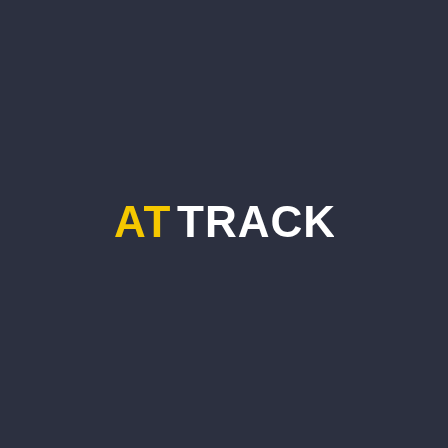[Figure (logo): ATTRACK logo on dark background. 'AT' is in yellow/gold color and 'TRACK' is in white, displayed in bold sans-serif uppercase font centered on a dark navy/charcoal background.]